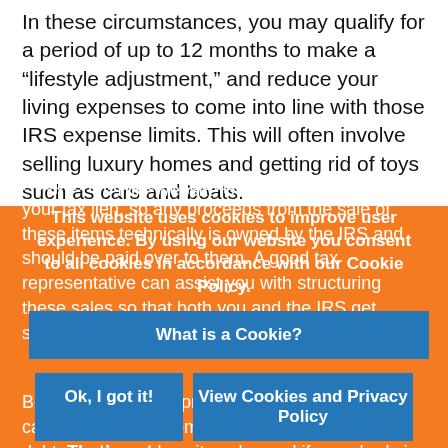In these circumstances, you may qualify for a period of up to 12 months to make a “lifestyle adjustment,” and reduce your living expenses to come into line with those IRS expense limits. This will often involve selling luxury homes and getting rid of toys such as cars and boats.
Keep in mind that these items are all covered by your tax lien, so any proceeds from the sale of these items technically is owned by the IRS and should be paid over to them. A good tax representative can assist you with structuring these sales so that both you and the IRS get something out of it.
This Website Uses Cookies
This website uses cookies to improve user experience. By using our website you consent to all cookies in accordance with our Cookie Policy.
What is a Cookie?
Ok, I got it!
View Cookies and Privacy Policy
Beware of anybody promising that your tax debt can be settled for some fixed percentage of the debt. That’s not how it works, and if somebody is trying to sell you on that idea is selling you beachfront property in Kansas, and you should seek assistance elsewhere.